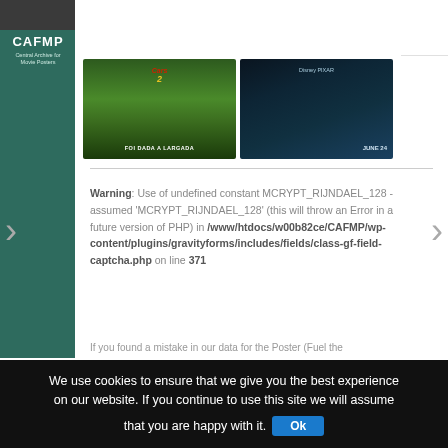[Figure (logo): CAFMP - Central Archive for Movie Posters logo on dark teal sidebar]
[Figure (screenshot): Two movie poster thumbnails: Cars 2 (green grass background, 'FOI DADA A LARGADA') and a dark blue Disney Pixar teaser poster ('JUNE 24')]
Warning: Use of undefined constant MCRYPT_RIJNDAEL_128 - assumed 'MCRYPT_RIJNDAEL_128' (this will throw an Error in a future version of PHP) in /www/htdocs/w00b82ce/CAFMP/wp-content/plugins/gravityforms/includes/fields/class-gf-field-captcha.php on line 371
If you found a mistake in our data for the Poster (Fuel the
We use cookies to ensure that we give you the best experience on our website. If you continue to use this site we will assume that you are happy with it. Ok